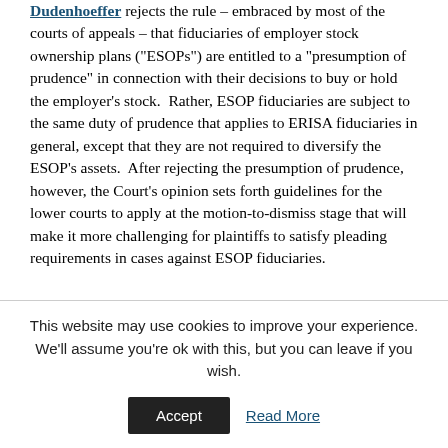Dudenhoeffer rejects the rule – embraced by most of the courts of appeals – that fiduciaries of employer stock ownership plans ("ESOPs") are entitled to a "presumption of prudence" in connection with their decisions to buy or hold the employer's stock. Rather, ESOP fiduciaries are subject to the same duty of prudence that applies to ERISA fiduciaries in general, except that they are not required to diversify the ESOP's assets. After rejecting the presumption of prudence, however, the Court's opinion sets forth guidelines for the lower courts to apply at the motion-to-dismiss stage that will make it more challenging for plaintiffs to satisfy pleading requirements in cases against ESOP fiduciaries.
I.          No presumption of prudence
This website may use cookies to improve your experience. We'll assume you're ok with this, but you can leave if you wish.